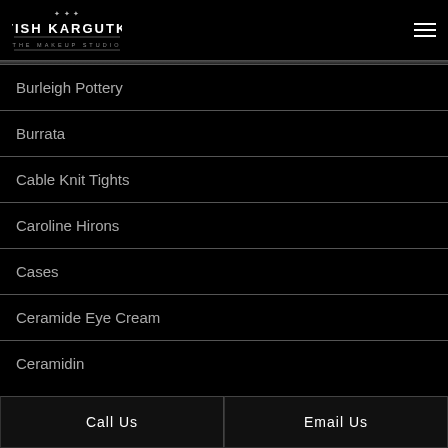[Figure (logo): Satish Kargutkar The Makeup Studio logo with crown emblem, white text on black background]
Burleigh Pottery
Burrata
Cable Knit Tights
Caroline Hirons
Cases
Ceramide Eye Cream
Ceramidin
Call Us   Email Us